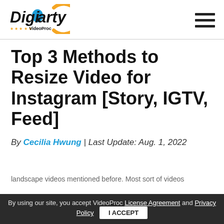[Figure (logo): Digiarty VideoProc logo with orange circle accent and star rating]
Top 3 Methods to Resize Video for Instagram [Story, IGTV, Feed]
By Cecilia Hwung | Last Update: Aug. 1, 2022
landscape videos mentioned before. Most sort of videos
By using our site, you accept VideoProc License Agreement and Privacy Policy  I ACCEPT